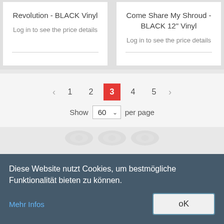Revolution - BLACK Vinyl
Log in to see the price details
Come Share My Shroud - BLACK 12" Vinyl
Log in to see the price details
< 1 2 3 4 5 >  Show 60 per page
Diese Website nutzt Cookies, um bestmögliche Funktionalität bieten zu können.
Mehr Infos
oK